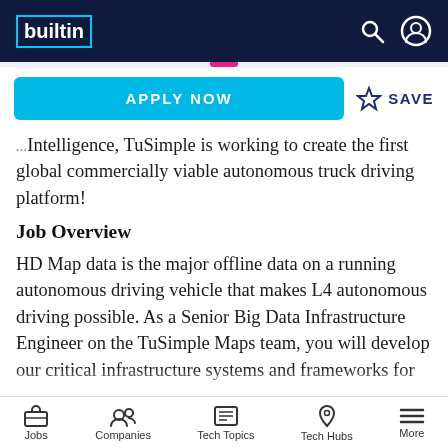builtin
Intelligence, TuSimple is working to create the first global commercially viable autonomous truck driving platform!
Job Overview
HD Map data is the major offline data on a running autonomous driving vehicle that makes L4 autonomous driving possible. As a Senior Big Data Infrastructure Engineer on the TuSimple Maps team, you will develop our critical infrastructure systems and frameworks for
Jobs  Companies  Tech Topics  Tech Hubs  More